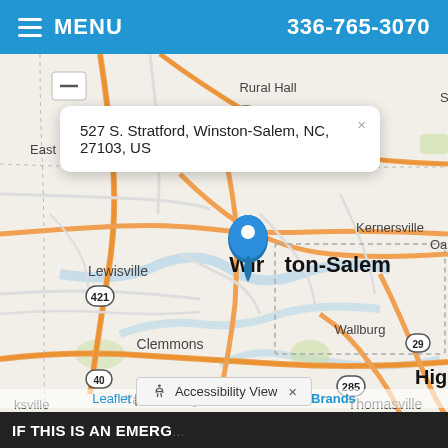☰ MENU | 336-765-3070
[Figure (map): Interactive map showing Winston-Salem, NC area with a pin at 527 S. Stratford, Winston-Salem, NC, 27103, US. Map shows surrounding areas including East Bend, Rural Hall, Lewisville, Kernersville, Clemmons, Wallburg, Thomasville. Road markers include 421, 74, 40, 285, 29. Popup shows address: 527 S. Stratford, Winston-Salem, NC, 27103, US.]
Leaflet | Map data provided by Internet Brands
Accessibility View ×
IF THIS IS AN EMERG...